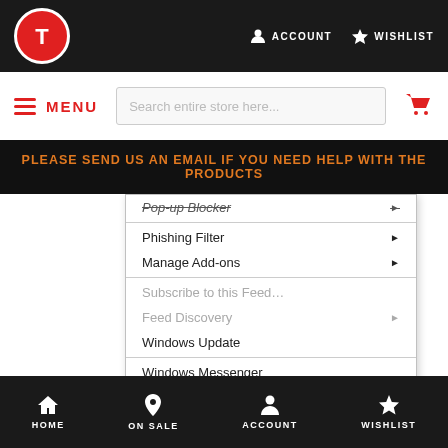ACCOUNT  WISHLIST
MENU  Search entire store here...
PLEASE SEND US AN EMAIL IF YOU NEED HELP WITH THE PRODUCTS
[Figure (screenshot): Windows Internet Explorer dropdown menu showing items: Pop-up Blocker, Phishing Filter, Manage Add-ons, Subscribe to this Feed..., Feed Discovery, Windows Update, Windows Messenger, Show Related Links, PartyPoker.com, Noble Poker, Sun Java Console, Internet Options (highlighted in blue with red border)]
HOME  ON SALE  ACCOUNT  WISHLIST